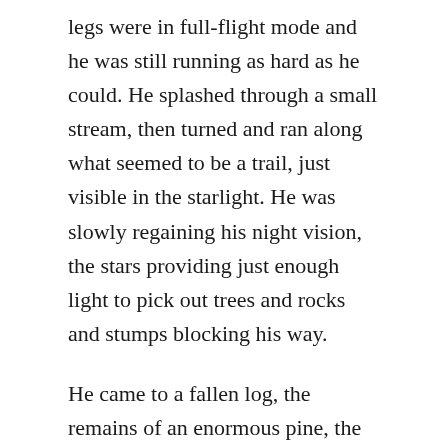legs were in full-flight mode and he was still running as hard as he could. He splashed through a small stream, then turned and ran along what seemed to be a trail, just visible in the starlight. He was slowly regaining his night vision, the stars providing just enough light to pick out trees and rocks and stumps blocking his way.
He came to a fallen log, the remains of an enormous pine, the rotting branches rising into the air like the ribs of an ancient monster. He turned away, running slower now but still as fast as he was able. He was chuffing for breath, wheezing like a kid with asthma, and could feel the blood pounding in his hands, and ears, and feet.
After several more minutes he stopped. He looked around, spotted a tall, sweeping pine, and dove beneath